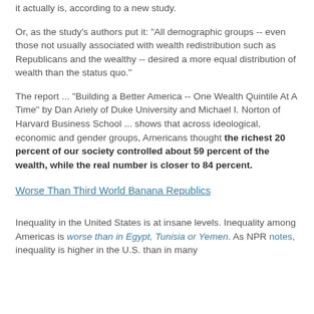it actually is, according to a new study.
Or, as the study's authors put it: "All demographic groups -- even those not usually associated with wealth redistribution such as Republicans and the wealthy -- desired a more equal distribution of wealth than the status quo."
The report ... "Building a Better America -- One Wealth Quintile At A Time" by Dan Ariely of Duke University and Michael I. Norton of Harvard Business School ... shows that across ideological, economic and gender groups, Americans thought the richest 20 percent of our society controlled about 59 percent of the wealth, while the real number is closer to 84 percent.
Worse Than Third World Banana Republics
Inequality in the United States is at insane levels. Inequality among Americas is worse than in Egypt, Tunisia or Yemen. As NPR notes, inequality is higher in the U.S. than in many